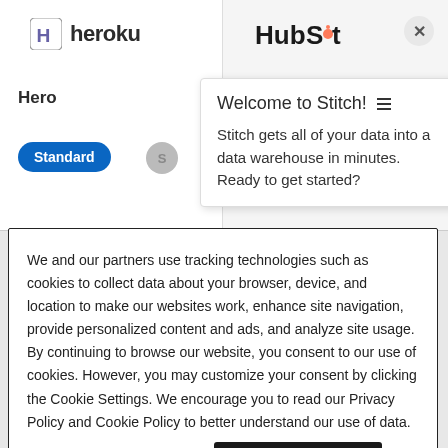[Figure (screenshot): Heroku logo with icon and text in the top-left column of a browser-like interface]
[Figure (screenshot): HubSpot logo in the top-right column with a close (X) button]
Hero
[Figure (screenshot): Standard blue pill button and grey circle button]
Welcome to Stitch! ≡

Stitch gets all of your data into a data warehouse in minutes. Ready to get started?
We and our partners use tracking technologies such as cookies to collect data about your browser, device, and location to make our websites work, enhance site navigation, provide personalized content and ads, and analyze site usage. By continuing to browse our website, you consent to our use of cookies. However, you may customize your consent by clicking the Cookie Settings. We encourage you to read our Privacy Policy and Cookie Policy to better understand our use of data.
Cookie Settings
Accept Cookies